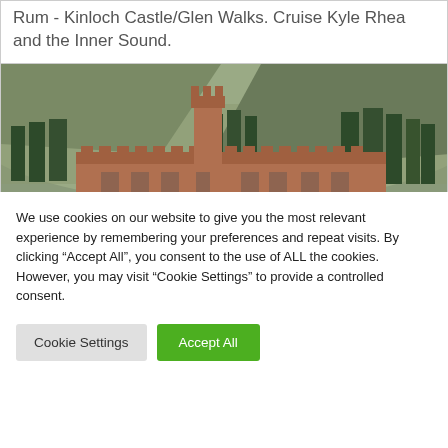Rum - Kinloch Castle/Glen Walks. Cruise Kyle Rhea and the Inner Sound.
[Figure (photo): Photograph of Kinloch Castle on the Isle of Rum, a red sandstone Victorian baronial castle set against a hillside with trees and moorland.]
We use cookies on our website to give you the most relevant experience by remembering your preferences and repeat visits. By clicking “Accept All”, you consent to the use of ALL the cookies. However, you may visit "Cookie Settings" to provide a controlled consent.